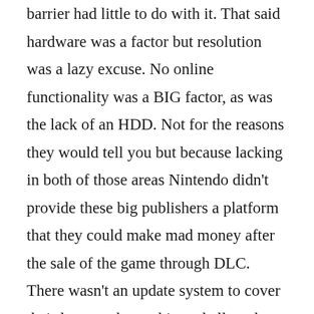barrier had little to do with it. That said hardware was a factor but resolution was a lazy excuse. No online functionality was a BIG factor, as was the lack of an HDD. Not for the reasons they would tell you but because lacking in both of those areas Nintendo didn't provide these big publishers a platform that they could make mad money after the sale of the game through DLC. There wasn't an update system to cover their lazy workmanship and allow them to finish the product after they sold it...if they finished it at all.